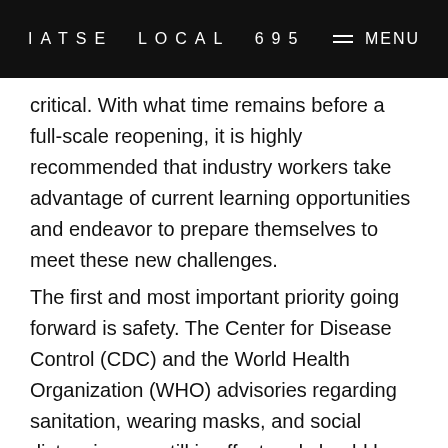IATSE LOCAL 695  MENU
critical. With what time remains before a full-scale reopening, it is highly recommended that industry workers take advantage of current learning opportunities and endeavor to prepare themselves to meet these new challenges.
The first and most important priority going forward is safety. The Center for Disease Control (CDC) and the World Health Organization (WHO) advisories regarding sanitation, wearing masks, and social distancing are still in effect and should be adhered to strictly. Beyond that, it is imperative